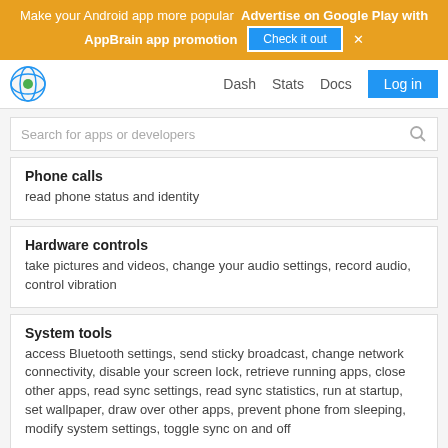Make your Android app more popular  Advertise on Google Play with AppBrain app promotion  Check it out  ×
Dash  Stats  Docs  Log in
Search for apps or developers
Phone calls
read phone status and identity
Hardware controls
take pictures and videos, change your audio settings, record audio, control vibration
System tools
access Bluetooth settings, send sticky broadcast, change network connectivity, disable your screen lock, retrieve running apps, close other apps, read sync settings, read sync statistics, run at startup, set wallpaper, draw over other apps, prevent phone from sleeping, modify system settings, toggle sync on and off
Extra